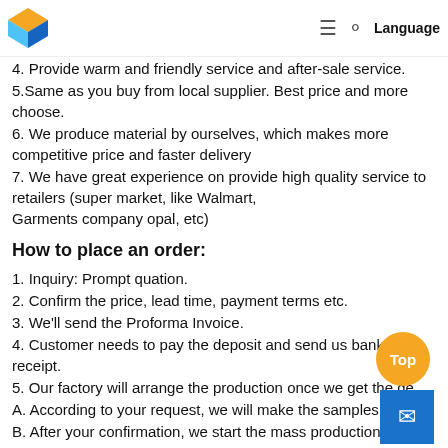Language
4. Provide warm and friendly service and after-sale service.
5. Same as you buy from local supplier. Best price and more choose.
6. We produce material by ourselves, which makes more competitive price and faster delivery
7. We have great experience on provide high quality service to retailers (super market, like Walmart, Garments company opal, etc)
How to place an order:
1. Inquiry: Prompt quation.
2. Confirm the price, lead time, payment terms etc.
3. We'll send the Proforma Invoice.
4. Customer needs to pay the deposit and send us bank receipt.
5. Our factory will arrange the production once we get the de…
A. According to your request, we will make the samples.
B. After your confirmation, we start the mass production.
C. During this time, we'll keep you informed of the latest produ…